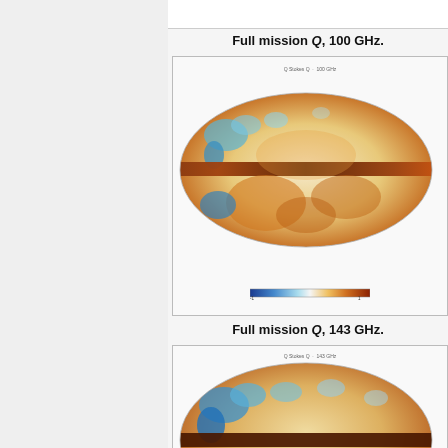Full mission Q, 100 GHz.
[Figure (map): Mollweide projection full-sky map of Q Stokes parameter at 100 GHz, showing galactic polarization. Color scale from blue (negative) through white to orange/brown (positive). Colorbar at bottom. Title reads 'Q Stokes Q, 100 GHz'.]
Full mission Q, 143 GHz.
[Figure (map): Mollweide projection full-sky map of Q Stokes parameter at 143 GHz, showing galactic polarization with more blue regions visible. Color scale from blue through white to orange/brown. Title reads 'Q Stokes Q, 143 GHz'.]